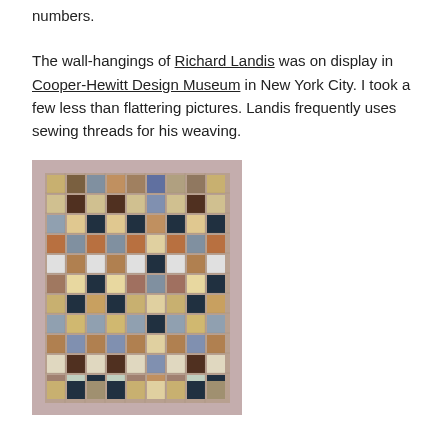numbers.
The wall-hangings of Richard Landis was on display in Cooper-Hewitt Design Museum in New York City. I took a few less than flattering pictures. Landis frequently uses sewing threads for his weaving.
[Figure (photo): A woven wall-hanging by Richard Landis displayed against a pinkish-mauve wall, featuring a complex geometric grid pattern with squares in earth tones including brown, tan, rust, blue-grey, cream, and black arranged in a plaid-like structure.]